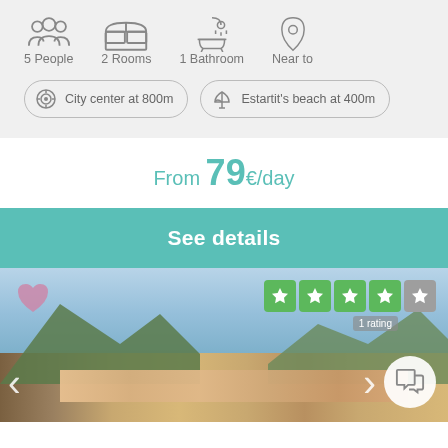5 People
2 Rooms
1 Bathroom
Near to
City center at 800m
Estartit's beach at 400m
From 79€/day
See details
[Figure (photo): Coastal town photo showing harbor, mountains, and buildings with navigation arrows, heart overlay, 4-star rating, and chat button]